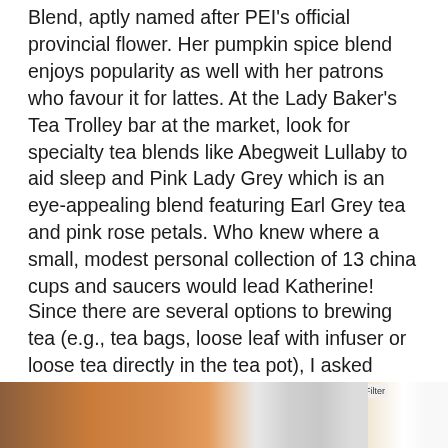Blend, aptly named after PEI's official provincial flower. Her pumpkin spice blend enjoys popularity as well with her patrons who favour it for lattes. At the Lady Baker's Tea Trolley bar at the market, look for specialty tea blends like Abegweit Lullaby to aid sleep and Pink Lady Grey which is an eye-appealing blend featuring Earl Grey tea and pink rose petals. Who knew where a small, modest personal collection of 13 china cups and saucers would lead Katherine!
Since there are several options to brewing tea (e.g., tea bags, loose leaf with infuser or loose tea directly in the tea pot), I asked Katherine for her preference. She says she prefers to brew loose leaf tea in an infuser in the tea pot. Katherine also recommends that the water for the tea first be filtered and then brought to a boil. If brewing green tea, let the water sit until it drops to the proper temperature (85°) before adding and brewing the tea leaves.
[Figure (photo): Partial photo showing what appears to be tea-related items including a Multi-Use Tea Filter product visible on the right side of the image.]